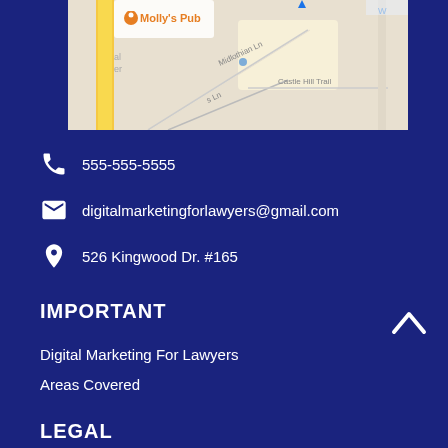[Figure (map): Google Maps screenshot showing partial street map with roads including Midlothian Ln, Castle Hill Trail, Chestnut Ridge Rd, yellow road visible, and Molly's Pub marker labeled in orange text with location pin icon.]
555-555-5555
digitalmarketingforlawyers@gmail.com
526 Kingwood Dr. #165
IMPORTANT
Digital Marketing For Lawyers
Areas Covered
LEGAL